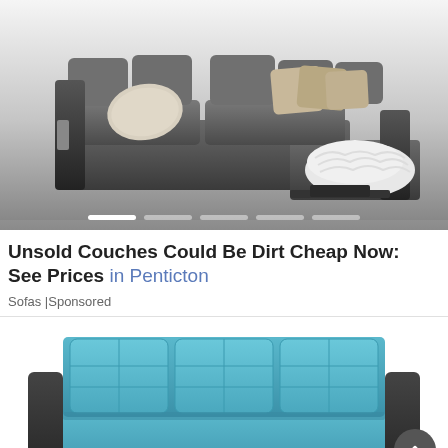[Figure (photo): Gray L-shaped sectional sofa with white/beige throw pillows and a fluffy white blanket draped over the right armrest, photographed on a gradient gray-to-white background with a carousel navigation indicator at the bottom showing 5 dots, second dot highlighted.]
Unsold Couches Could Be Dirt Cheap Now: See Prices in Penticton
Sofas | Sponsored
[Figure (photo): Teal/blue three-cushion sofa with dark armrests photographed from slightly above, partially cropped at the bottom. A circular gray scroll-to-top arrow button appears in the lower right corner.]